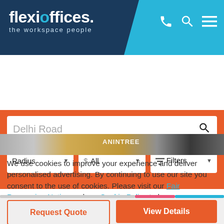[Figure (screenshot): Flexi Offices website header with dark navy background, logo reading 'flexioffices. the workspace people', and cyan panel on right with phone, search, and menu icons]
[Figure (screenshot): Search interface with orange background containing a search bar with 'Delhi Road' text, and three filter dropdowns: Radius, $ All, and Filters]
We use cookies to improve your experience and deliver personalised advertising. By continuing to use our site you consent to the use of cookies. Please visit our Fair Processing Notice and our Cookie Policy to learn more.
[Figure (screenshot): Two yellow buttons: 'Read more' on the left and 'Accept & Close' on the right]
[Figure (screenshot): Two action buttons: 'Request Quote' with orange border outline and 'View Details' with solid orange background]